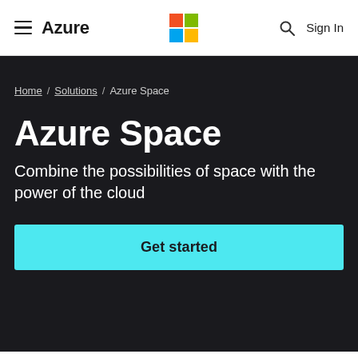Azure
Home / Solutions / Azure Space
Azure Space
Combine the possibilities of space with the power of the cloud
Get started
Solution overview